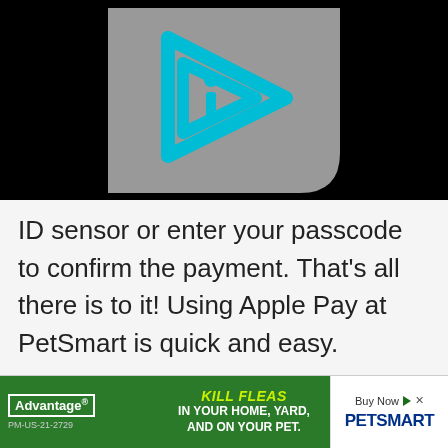[Figure (screenshot): Video thumbnail on black background showing a gray card with a cyan/teal play-button style arrow icon containing the letter i — an informational video player thumbnail]
ID sensor or enter your passcode to confirm the payment. That's all there is to it! Using Apple Pay at PetSmart is quick and easy.
[Figure (other): Advertisement banner for Advantage flea product sold at PetSmart. Green background with text: KILL FLEAS IN YOUR HOME, YARD, AND ON YOUR PET. Advantage logo. Buy Now. PetSmart logo. PM-US-21-2729.]